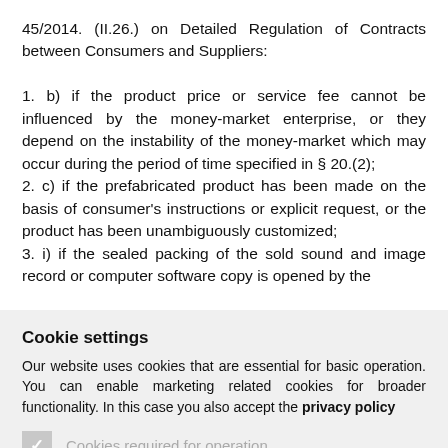45/2014. (II.26.) on Detailed Regulation of Contracts between Consumers and Suppliers:
1. b) if the product price or service fee cannot be influenced by the money-market enterprise, or they depend on the instability of the money-market which may occur during the period of time specified in § 20.(2);
2. c) if the prefabricated product has been made on the basis of consumer's instructions or explicit request, or the product has been unambiguously customized;
3. i) if the sealed packing of the sold sound and image record or computer software copy is opened by the
Cookie settings
Our website uses cookies that are essential for basic operation. You can enable marketing related cookies for broader functionality. In this case you also accept the privacy policy
Cookies required for operation
Marketing cookies
SET